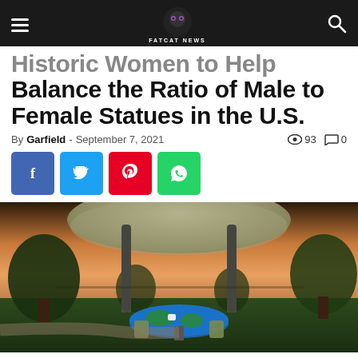FATCAT NEWS
Historic Women to Help Balance the Ratio of Male to Female Statues in the U.S.
By Garfield - September 7, 2021  93  0
[Figure (photo): 3D rendering of a decorative outdoor pavilion structure with ornate canopy over a globe-like table, trees and sunset sky in background]